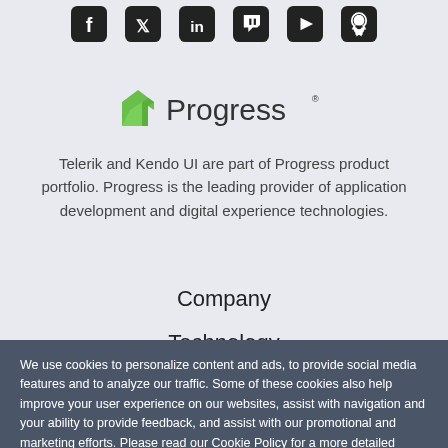[Figure (illustration): Row of social media icons: Facebook, Twitter, LinkedIn, Twitch, YouTube, GitHub — all in dark/black rounded square style]
[Figure (logo): Progress logo with green angular arrow icon and 'Progress' text in dark grey]
Telerik and Kendo UI are part of Progress product portfolio. Progress is the leading provider of application development and digital experience technologies.
Company
Technology
We use cookies to personalize content and ads, to provide social media features and to analyze our traffic. Some of these cookies also help improve your user experience on our websites, assist with navigation and your ability to provide feedback, and assist with our promotional and marketing efforts. Please read our Cookie Policy for a more detailed description and click on the settings button to customize how the site uses cookies for you.
ACCEPT COOKIES
COOKIES SETTINGS